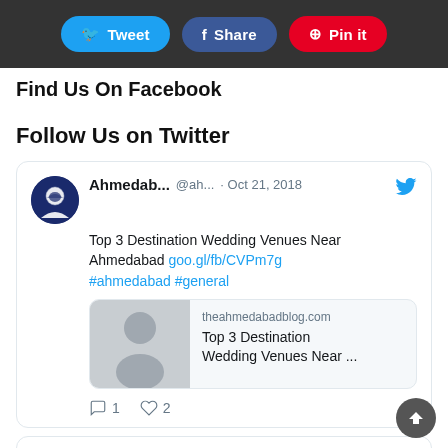Tweet | Share | Pin it
Find Us On Facebook
Follow Us on Twitter
[Figure (screenshot): Twitter embed card: Ahmedab... @ah... · Oct 21, 2018 — Top 3 Destination Wedding Venues Near Ahmedabad goo.gl/fb/CVPm7g #ahmedabad #general. Preview image from theahmedabadblog.com. 1 reply, 2 likes.]
[Figure (screenshot): Twitter embed card: Ahmedab... @ah... · May 23, 2018 (partial, cropped at bottom)]